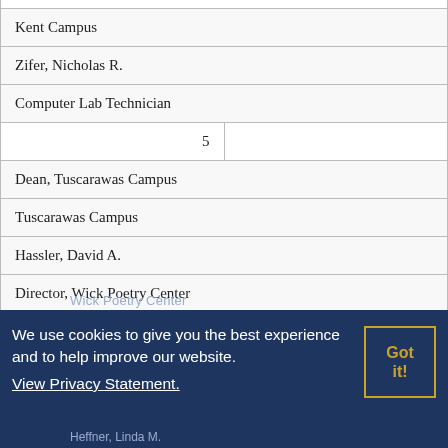| Kent Campus |
| Zifer, Nicholas R. |
| Computer Lab Technician |
| 5 |  |
| Dean, Tuscarawas Campus |
| Tuscarawas Campus |
| Hassler, David A. |
| Director, Wick Poetry Center |
| 10 |  |
We use cookies to give you the best experience and to help improve our website. View Privacy Statement.